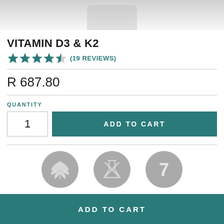[Figure (photo): Product photo of a white supplement jar/container, partially visible at top of page]
VITAMIN D3 & K2
★★★★½ (19 REVIEWS)
R 687.80
QUANTITY
1
ADD TO CART
[Figure (illustration): Three grey circular icons: a cannabis/plant leaf icon, a laboratory flask with X icon, and a number 7 icon]
ADD TO CART